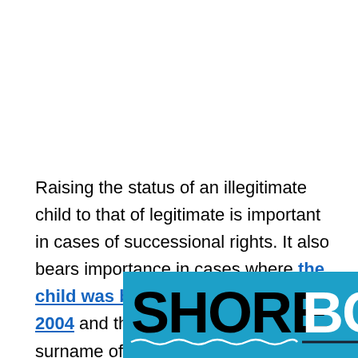Raising the status of an illegitimate child to that of legitimate is important in cases of successional rights. It also bears importance in cases where the child was born prior to March 19, 2004 and the latter wants to use the surname of the father.
[Figure (logo): SHORE BCN logo on a light blue background. SHORE in bold black letters and BCN in bold white letters, with wave underline beneath SHORE and a solid line beneath BCN.]